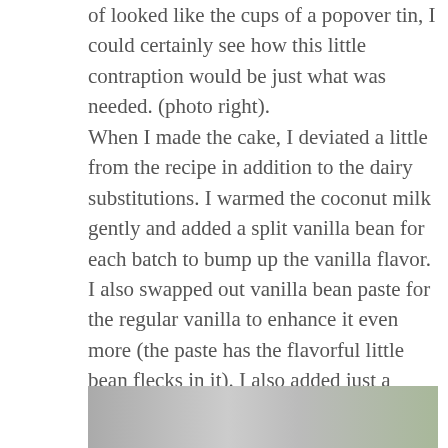of looked like the cups of a popover tin, I could certainly see how this little contraption would be just what was needed. (photo right). When I made the cake, I deviated a little from the recipe in addition to the dairy substitutions. I warmed the coconut milk gently and added a split vanilla bean for each batch to bump up the vanilla flavor. I also swapped out vanilla bean paste for the regular vanilla to enhance it even more (the paste has the flavorful little bean flecks in it). I also added just a touch of almond extract, which, I'm told, is traditional in a wedding cake. My last swap was to use cake flour rather than all-purpose flour simply because I always do!
[Figure (photo): Partial photo strip visible at the bottom of the page showing food/cake related image]